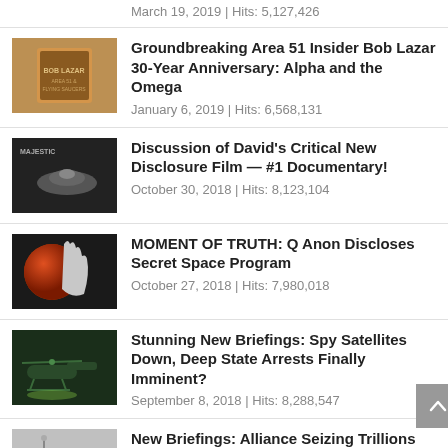March 19, 2019 | Hits: 5,127,426
Groundbreaking Area 51 Insider Bob Lazar 30-Year Anniversary: Alpha and the Omega
January 6, 2019 | Hits: 6,568,131
Discussion of David’s Critical New Disclosure Film — #1 Documentary!
October 30, 2018 | Hits: 8,123,104
MOMENT OF TRUTH: Q Anon Discloses Secret Space Program
October 27, 2018 | Hits: 7,980,018
Stunning New Briefings: Spy Satellites Down, Deep State Arrests Finally Imminent?
September 8, 2018 | Hits: 8,288,547
New Briefings: Alliance Seizing Trillions Stolen By Deep State, Preparing to Give It Back
July 2, 2018 | Hits: 7,931,692